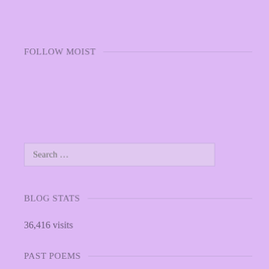FOLLOW MOIST
BLOG STATS
36,416 visits
PAST POEMS